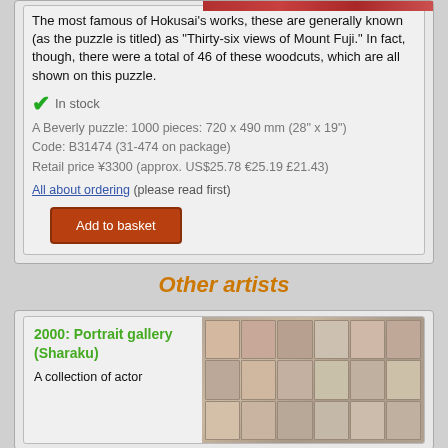The most famous of Hokusai's works, these are generally known (as the puzzle is titled) as "Thirty-six views of Mount Fuji." In fact, though, there were a total of 46 of these woodcuts, which are all shown on this puzzle.
✓  In stock
A Beverly puzzle: 1000 pieces: 720 x 490 mm (28" x 19")
Code: B31474 (31-474 on package)
Retail price ¥3300 (approx. US$25.78 €25.19 £21.43)
All about ordering (please read first)
Add to basket
Other artists
2000: Portrait gallery (Sharaku)
A collection of actor
[Figure (photo): Puzzle image showing portrait gallery artwork by Sharaku]